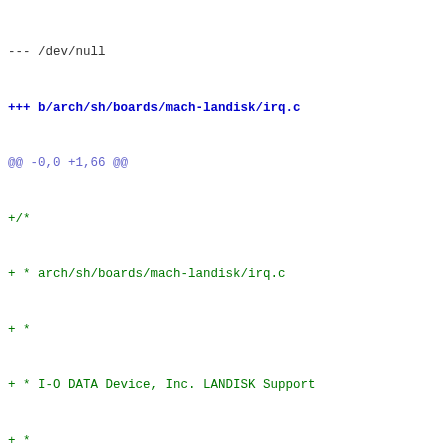--- /dev/null
+++ b/arch/sh/boards/mach-landisk/irq.c
@@ -0,0 +1,66 @@
+/*
+ * arch/sh/boards/mach-landisk/irq.c
+ *
+ * I-O DATA Device, Inc. LANDISK Support
+ *
+ * Copyright (C) 2005-2007 kogiidena
+ * Copyright (C) 2011 Nobuhiro Iwamatsu
+ *
+ * Copyright (C) 2001  Ian da Silva, Jeremy Siegel
+ * Based largely on io_se.c.
+ *
+ * This file is subject to the terms and conditions of the G
+ * License.  See the file "COPYING" in the main directory of
+ * for more details.
+ */
+
+#include <linux/init.h>
+#include <linux/irq.h>
+#include <linux/interrupt.h>
+#include <linux/io.h>
+#include <mach-landisk/mach/iodata_landisk.h>
+